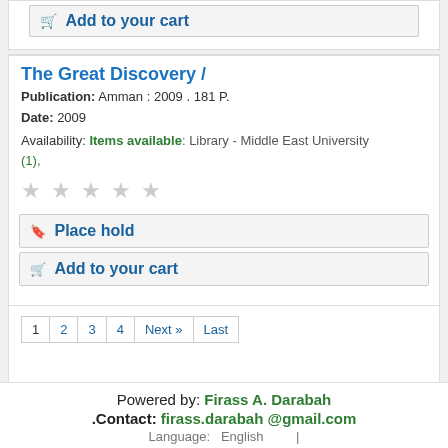Add to your cart
The Great Discovery /
Publication: Amman : 2009 . 181 P.
Date: 2009
Availability: Items available: Library - Middle East University (1),
Place hold
Add to your cart
1 2 3 4 Next » Last
Powered by: Firass A. Darabah .Contact: firass.darabah @gmail.com Language: English